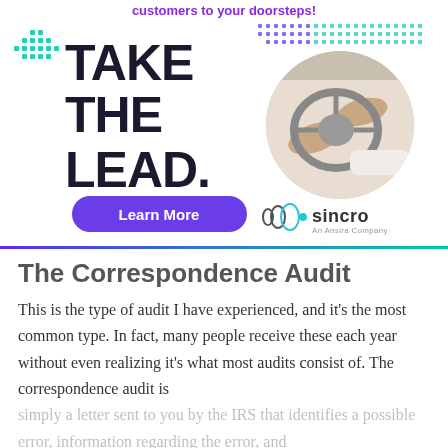customers to your doorsteps!
[Figure (infographic): Advertisement banner for Sincro with bold text 'TAKE THE LEAD.' on the left, a circular photo of hands on a steering wheel on the right with decorative dots, a purple 'Learn More' button, and the Sincro logo.]
The Correspondence Audit
This is the type of audit I have experienced, and it's the most common type. In fact, many people receive these each year without even realizing it's what most audits consist of. The correspondence audit is
simply a letter sent to you by the IRS that identifies a possible error, information regarding the error, and